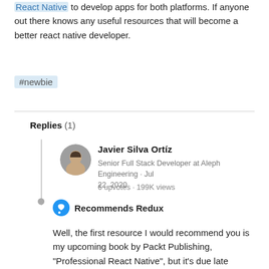React Native to develop apps for both platforms. If anyone out there knows any useful resources that will become a better react native developer.
#newbie
Replies (1)
Javier Silva Ortíz
Senior Full Stack Developer at Aleph Engineering · Jul 22, 2020
6 upvotes · 199K views
Recommends Redux
Well, the first resource I would recommend you is my upcoming book by Packt Publishing, "Professional React Native", but it's due late January next year :) . Now jokes aside (the book's real by the